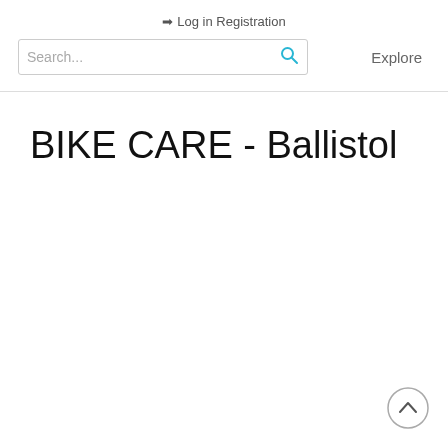➔ Log in Registration
[Figure (screenshot): Search bar with placeholder text 'Search...' and a cyan magnifying glass icon on the right, followed by 'Explore' text link]
BIKE CARE - Ballistol
[Figure (other): Back-to-top button: circle with upward chevron arrow]